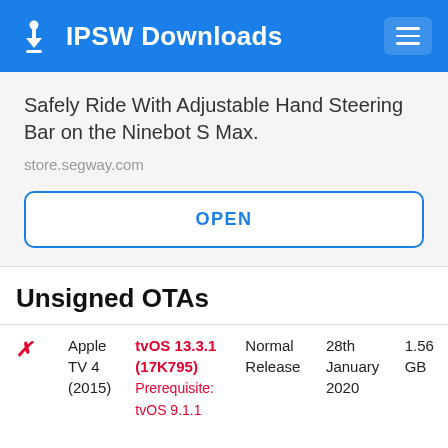IPSW Downloads
[Figure (screenshot): Advertisement card showing 'Safely Ride With Adjustable Hand Steering Bar on the Ninebot S Max.' from store.segway.com with an OPEN button]
Unsigned OTAs
|  | Device | Version | Type | Date | Size |
| --- | --- | --- | --- | --- | --- |
| ✗ | Apple TV 4 (2015) | tvOS 13.3.1 (17K795) Prerequisite: tvOS 9.1.1 | Normal Release | 28th January 2020 | 1.56 GB |